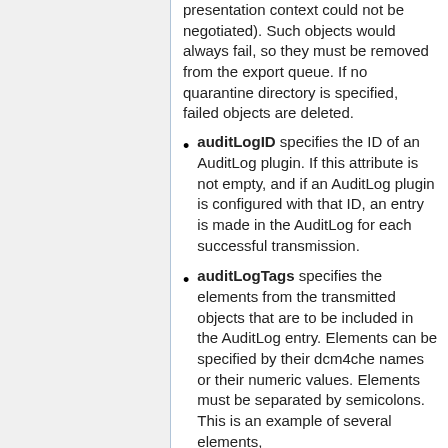presentation context could not be negotiated). Such objects would always fail, so they must be removed from the export queue. If no quarantine directory is specified, failed objects are deleted.
auditLogID specifies the ID of an AuditLog plugin. If this attribute is not empty, and if an AuditLog plugin is configured with that ID, an entry is made in the AuditLog for each successful transmission.
auditLogTags specifies the elements from the transmitted objects that are to be included in the AuditLog entry. Elements can be specified by their dcm4che names or their numeric values. Elements must be separated by semicolons. This is an example of several elements,